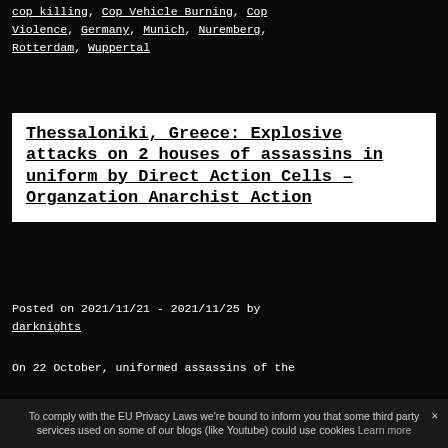cop killing, Cop Vehicle Burning, Cop Violence, Germany, Munich, Nuremberg, Rotterdam, Wuppertal
Thessaloniki, Greece: Explosive attacks on 2 houses of assassins in uniform by Direct Action Cells – Organzation Anarchist Action
Posted on 2021/11/21 - 2021/11/25 by darknights
On 22 October, uniformed assassins of the
To comply with the EU Privacy Laws we're bound to inform you that some third party services used on some of our blogs (like Youtube) could use cookies Learn more